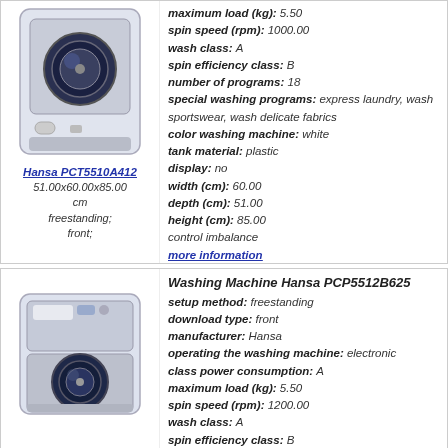[Figure (photo): Front-loading Hansa PCT5510A412 washing machine, white]
Hansa PCT5510A412
51.00x60.00x85.00 cm
freestanding;
front;
maximum load (kg): 5.50
spin speed (rpm): 1000.00
wash class: A
spin efficiency class: B
number of programs: 18
special washing programs: express laundry, wash sportswear, wash delicate fabrics
color washing machine: white
tank material: plastic
display: no
width (cm): 60.00
depth (cm): 51.00
height (cm): 85.00
control imbalance
more information
[Figure (photo): Front-loading Hansa PCP5512B625 washing machine, white]
Washing Machine Hansa PCP5512B625
setup method: freestanding
download type: front
manufacturer: Hansa
operating the washing machine: electronic
class power consumption: A
maximum load (kg): 5.50
spin speed (rpm): 1200.00
wash class: A
spin efficiency class: B
size of the hatch for loading laundry (cm): 33.00
number of programs: 21
special washing programs: super-rinse, express laundry, economical laundry, wash delicate fabrics, preventing creasing